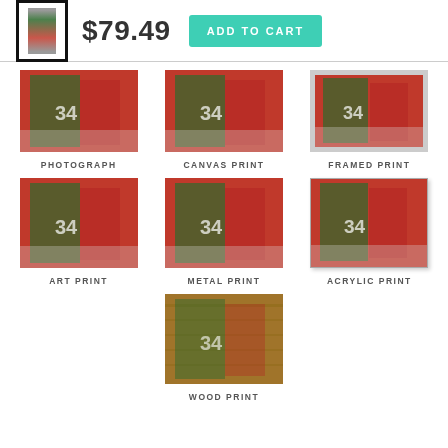[Figure (screenshot): Product thumbnail framed image of basketball player]
$79.49
ADD TO CART
[Figure (photo): Basketball player photograph print]
PHOTOGRAPH
[Figure (photo): Basketball player canvas print]
CANVAS PRINT
[Figure (photo): Basketball player framed print]
FRAMED PRINT
[Figure (photo): Basketball player art print]
ART PRINT
[Figure (photo): Basketball player metal print]
METAL PRINT
[Figure (photo): Basketball player acrylic print]
ACRYLIC PRINT
[Figure (photo): Basketball player wood print]
WOOD PRINT